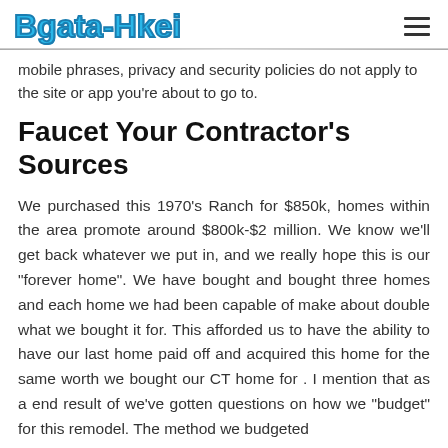Bgata-Hkei
mobile phrases, privacy and security policies do not apply to the site or app you're about to go to.
Faucet Your Contractor's Sources
We purchased this 1970's Ranch for $850k, homes within the area promote around $800k-$2 million. We know we'll get back whatever we put in, and we really hope this is our "forever home". We have bought and bought three homes and each home we had been capable of make about double what we bought it for. This afforded us to have the ability to have our last home paid off and acquired this home for the same worth we bought our CT home for . I mention that as a end result of we've gotten questions on how we "budget" for this remodel. The method we budgeted